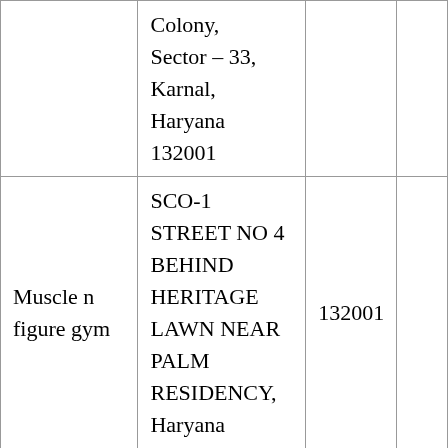|  | Colony,
Sector – 33,
Karnal,
Haryana
132001 |  |  |
| Muscle n figure gym | SCO-1 STREET NO 4 BEHIND HERITAGE LAWN NEAR PALM RESIDENCY, Haryana | 132001 |  |